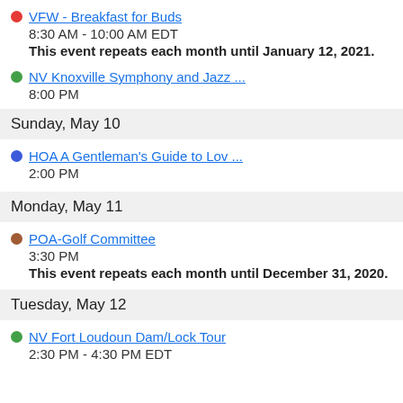VFW - Breakfast for Buds
8:30 AM - 10:00 AM EDT
This event repeats each month until January 12, 2021.
NV Knoxville Symphony and Jazz ...
8:00 PM
Sunday, May 10
HOA A Gentleman's Guide to Lov ...
2:00 PM
Monday, May 11
POA-Golf Committee
3:30 PM
This event repeats each month until December 31, 2020.
Tuesday, May 12
NV Fort Loudoun Dam/Lock Tour
2:30 PM - 4:30 PM EDT